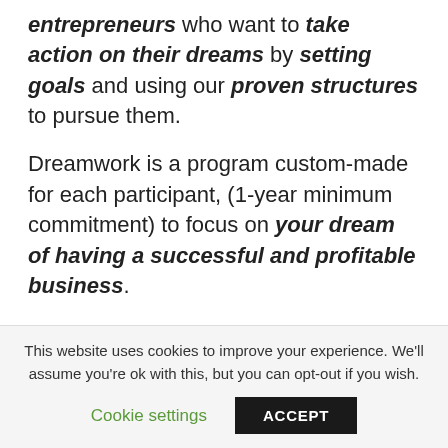entrepreneurs who want to take action on their dreams by setting goals and using our proven structures to pursue them.
Dreamwork is a program custom-made for each participant, (1-year minimum commitment) to focus on your dream of having a successful and profitable business.
Whether you just have an idea and haven't started yet, or you have been in business for a few years and want better results, we can help you get there.
This website uses cookies to improve your experience. We'll assume you're ok with this, but you can opt-out if you wish.